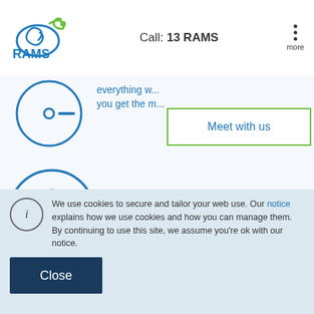Call: 13 RAMS
[Figure (illustration): Circular icon partially visible, showing a document with a bullet point and dash, in blue outline style]
everything w... you get the m...
[Figure (illustration): Meet with us button with green border]
[Figure (illustration): Circular icon showing three people silhouettes in blue outline style]
Your local RAMS Home Loan Specialist can even help you with handy contacts, such as solicitors and building inspectors.
We use cookies to secure and tailor your web use. Our notice explains how we use cookies and how you can manage them. By continuing to use this site, we assume you're ok with our notice.
Close